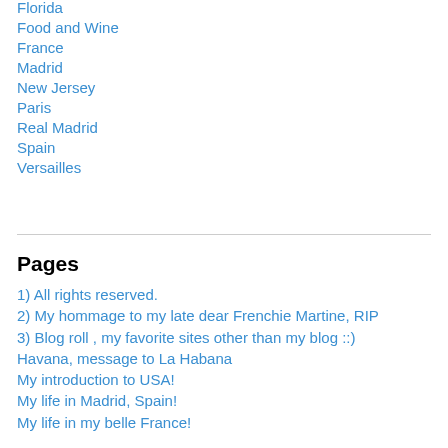Florida
Food and Wine
France
Madrid
New Jersey
Paris
Real Madrid
Spain
Versailles
Pages
1) All rights reserved.
2) My hommage to my late dear Frenchie Martine, RIP
3) Blog roll , my favorite sites other than my blog ::)
Havana, message to La Habana
My introduction to USA!
My life in Madrid, Spain!
My life in my belle France!